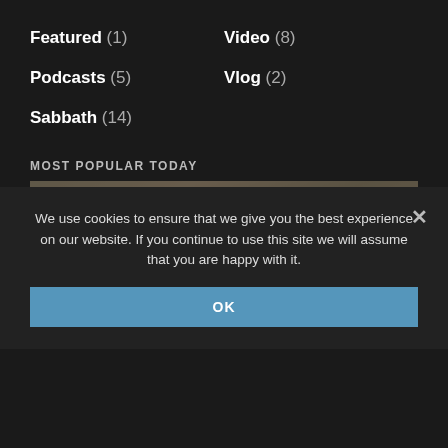Featured (1)
Video (8)
Podcasts (5)
Vlog (2)
Sabbath (14)
MOST POPULAR TODAY
[Figure (photo): Group photo of diverse people with text overlay reading 'WHO ARE THE EDOMITES TODAY?' and 'POWERFUL PROOF' in large bold letters]
We use cookies to ensure that we give you the best experience on our website. If you continue to use this site we will assume that you are happy with it.